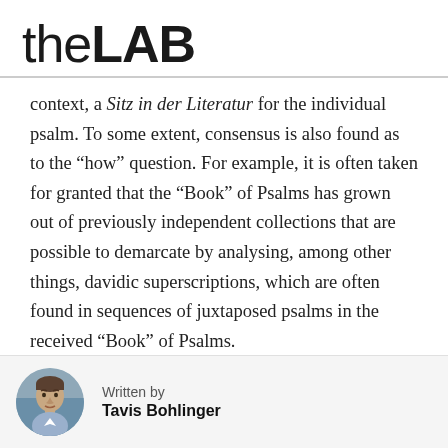theLAB
context, a Sitz in der Literatur for the individual psalm. To some extent, consensus is also found as to the “how” question. For example, it is often taken for granted that the “Book” of Psalms has grown out of previously independent collections that are possible to demarcate by analysing, among other things, davidic superscriptions, which are often found in sequences of juxtaposed psalms in the received “Book” of Psalms.

In my book, I attempt to revisit these two questions by contextualizing them in the
Written by
Tavis Bohlinger